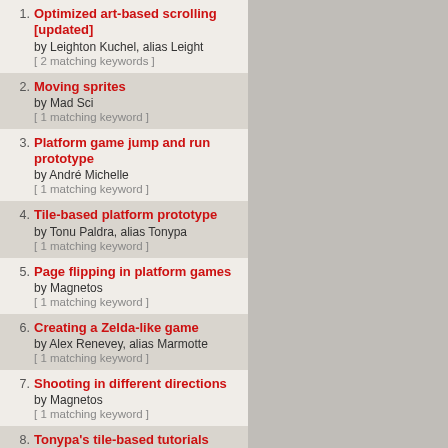1. Optimized art-based scrolling [updated] by Leighton Kuchel, alias Leight [ 2 matching keywords ]
2. Moving sprites by Mad Sci [ 1 matching keyword ]
3. Platform game jump and run prototype by André Michelle [ 1 matching keyword ]
4. Tile-based platform prototype by Tonu Paldra, alias Tonypa [ 1 matching keyword ]
5. Page flipping in platform games by Magnetos [ 1 matching keyword ]
6. Creating a Zelda-like game by Alex Renevey, alias Marmotte [ 1 matching keyword ]
7. Shooting in different directions by Magnetos [ 1 matching keyword ]
8. Tonypa's tile-based tutorials (updated) by Tonu Paldra, alias Tonypa [ 1 matching keyword ]
9. Multi-room platform by Magnetos [ 1 matching keyword ]
10. [SmartFox] Introduction to SmartFoxServer Lite by Marco Lapi, a.k.a Lapo [ 1 matching keyword ]
11. [SmartFox] Connecting the...